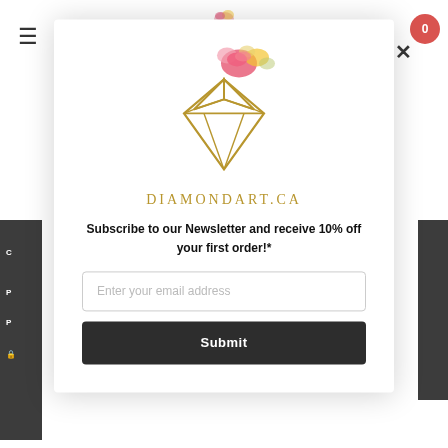[Figure (screenshot): Website screenshot showing DiamondArt.ca newsletter subscription modal popup overlay on a webpage. The modal contains a diamond logo with floral decoration, the site name DIAMONDART.CA in gold serif letters, a subscription headline, email input field, and submit button.]
Subscribe to our Newsletter and receive 10% off your first order!*
Enter your email address
Submit